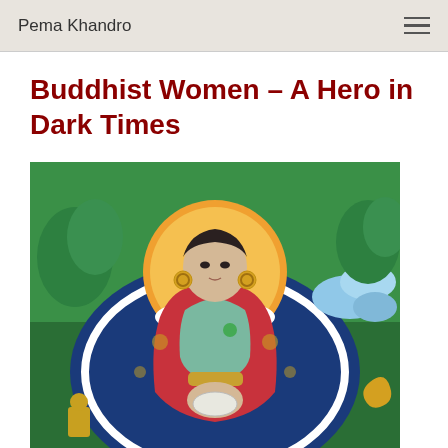Pema Khandro
Buddhist Women – A Hero in Dark Times
[Figure (illustration): Tibetan thangka-style painting of a female Buddhist figure seated on a throne. She has a golden halo (orange/yellow circular background), wears green and red robes, gold earrings, and holds an object in her hands. The background features decorative blue, green, and floral patterns typical of Tibetan Buddhist art.]